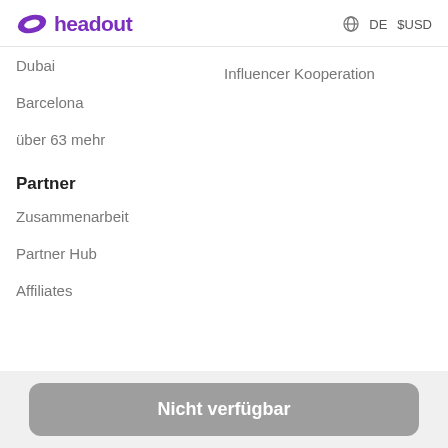headout   DE  $USD
Dubai
Influencer Kooperation
Barcelona
über 63 mehr
Partner
Zusammenarbeit
Partner Hub
Affiliates
Nicht verfügbar